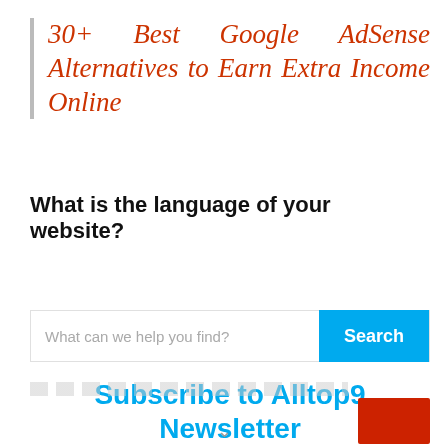30+ Best Google AdSense Alternatives to Earn Extra Income Online
What is the language of your website?
What can we help you find?
Subscribe to Alltop9 Newsletter